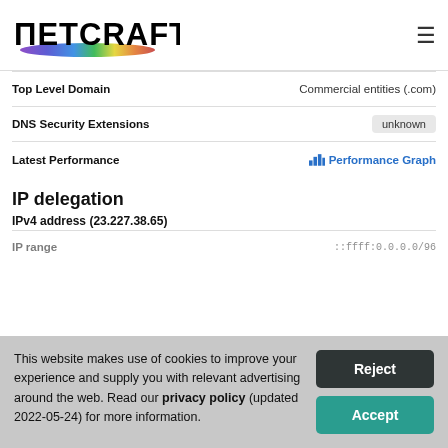Netcraft
| Field | Value |
| --- | --- |
| Top Level Domain | Commercial entities (.com) |
| DNS Security Extensions | unknown |
| Latest Performance | Performance Graph |
IP delegation
IPv4 address (23.227.38.65)
| Field | Value |
| --- | --- |
| IP range | ::ffff:0.0.0.0/96 |
This website makes use of cookies to improve your experience and supply you with relevant advertising around the web. Read our privacy policy (updated 2022-05-24) for more information.